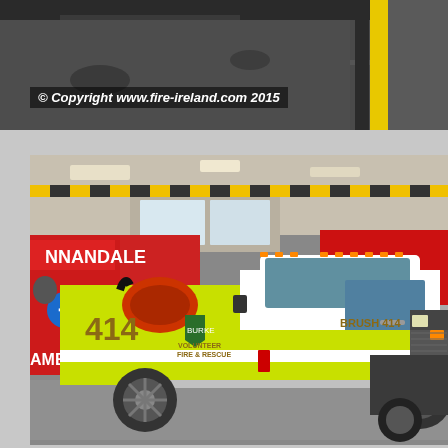[Figure (photo): Top portion of a fire station interior showing equipment bay ceiling area with yellow stripe visible, partially cropped photo from above]
© Copyright www.fire-ireland.com 2015
[Figure (photo): Fire station garage bay interior showing a yellow-green and white Ford F-250 pickup truck labeled 'BRUSH 414' and '414' with 'BURKE VOLUNTEER FIRE & RESCUE' markings on the door. Behind it are red emergency vehicles including an Annandale ambulance and a Fairfax Fire & Rescue truck. The floor is gray polished concrete.]